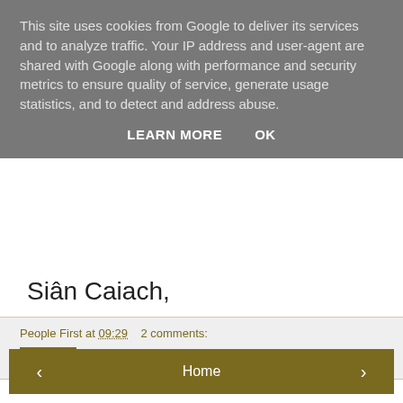This site uses cookies from Google to deliver its services and to analyze traffic. Your IP address and user-agent are shared with Google along with performance and security metrics to ensure quality of service, generate usage statistics, and to detect and address abuse.
LEARN MORE   OK
Siân Caiach,
People First at 09:29   2 comments:
Share
‹
Home
›
View web version
Powered by Blogger.